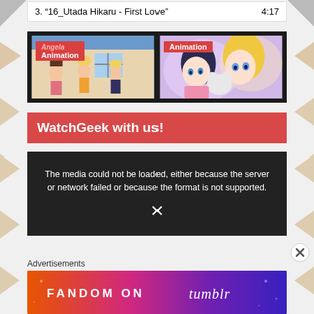3. "16_Utada Hikaru - First Love"   4:17
[Figure (screenshot): Two animation thumbnails side by side on dark background. Left thumbnail shows 3D animated characters with 'Animation' label. Right thumbnail shows anime-style characters with 'Animation' label.]
WatchGeek with us!
[Figure (screenshot): Dark video player area showing error message: 'The media could not be loaded, either because the server or network failed or because the format is not supported.' with a play/close icon below.]
Advertisements
[Figure (illustration): Fandom on Tumblr advertisement banner with colorful gradient background (orange to purple) and white text 'FANDOM ON tumblr']